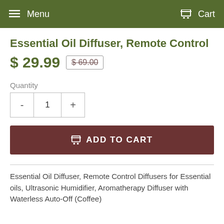Menu  Cart
Essential Oil Diffuser, Remote Control
$ 29.99  $ 69.00
Quantity
- 1 +
ADD TO CART
Essential Oil Diffuser, Remote Control Diffusers for Essential oils, Ultrasonic Humidifier, Aromatherapy Diffuser with Waterless Auto-Off (Coffee)